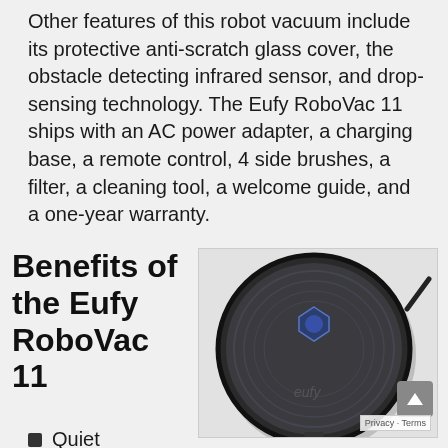Other features of this robot vacuum include its protective anti-scratch glass cover, the obstacle detecting infrared sensor, and drop-sensing technology. The Eufy RoboVac 11 ships with an AC power adapter, a charging base, a remote control, 4 side brushes, a filter, a cleaning tool, a welcome guide, and a one-year warranty.
Benefits of the Eufy RoboVac 11
[Figure (photo): Photo of the Eufy RoboVac 11 robot vacuum cleaner viewed from above, showing a round black device with brushed metallic finish and the Eufy logo, with a side brush extending out.]
Quiet